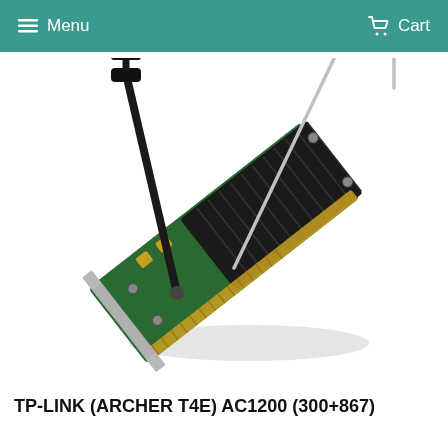Menu  Cart
[Figure (photo): TP-Link Archer T4E AC1200 PCIe wireless adapter card with two black antennas and black heatsink fins on green PCB, shown at an angle]
TP-LINK (ARCHER T4E) AC1200 (300+867)